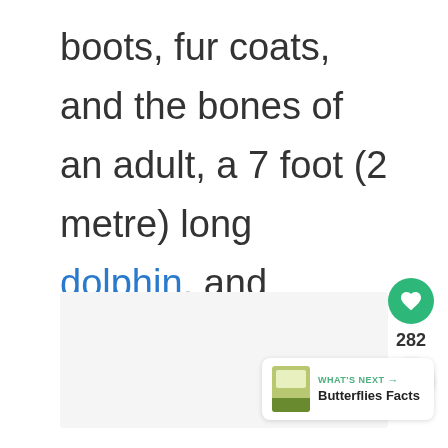boots, fur coats, and the bones of an adult, a 7 foot (2 metre) long dolphin, and bottles of wine.
[Figure (photo): A light gray/white rectangular image placeholder area]
282
WHAT'S NEXT → Butterflies Facts